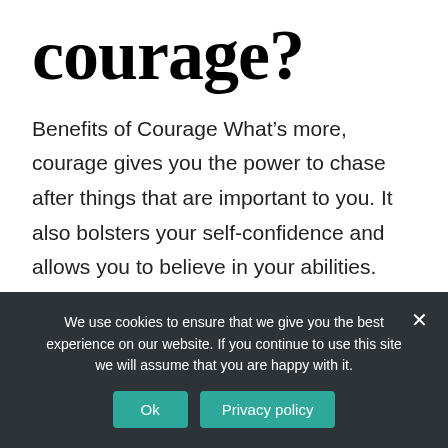courage?
Benefits of Courage What’s more, courage gives you the power to chase after things that are important to you. It also bolsters your self-confidence and allows you to believe in your abilities. Likewise, it’s important that you realize that courage is not the absence of fear.
We use cookies to ensure that we give you the best experience on our website. If you continue to use this site we will assume that you are happy with it.